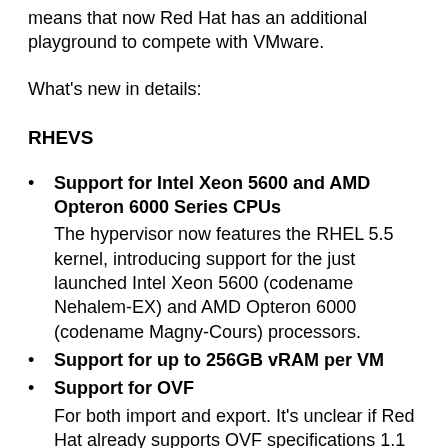means that now Red Hat has an additional playground to compete with VMware.
What's new in details:
RHEVS
Support for Intel Xeon 5600 and AMD Opteron 6000 Series CPUs
The hypervisor now features the RHEL 5.5 kernel, introducing support for the just launched Intel Xeon 5600 (codename Nehalem-EX) and AMD Opteron 6000 (codename Magny-Cours) processors.
Support for up to 256GB vRAM per VM
Support for OVF
For both import and export. It's unclear if Red Hat already supports OVF specifications 1.1 published